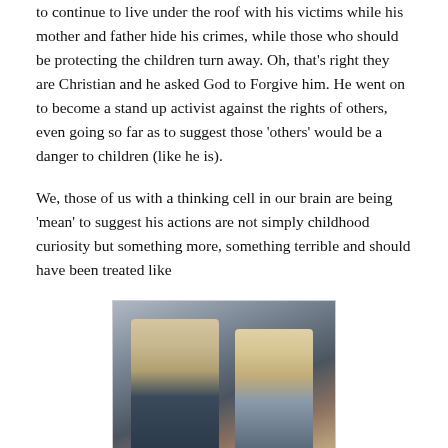to continue to live under the roof with his victims while his mother and father hide his crimes, while those who should be protecting the children turn away. Oh, that's right they are Christian and he asked God to Forgive him. He went on to become a stand up activist against the rights of others, even going so far as to suggest those 'others' would be a danger to children (like he is).
We, those of us with a thinking cell in our brain are being 'mean' to suggest his actions are not simply childhood curiosity but something more, something terrible and should have been treated like
[Figure (screenshot): A tweet by Josh Duggar (@joshduggar) showing a photo of two men standing together, with a Follow button and tweet text beginning 'Great to visit w/ my friend @GovMikeHuckabee this morning in'.]